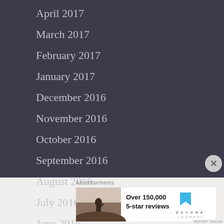April 2017
March 2017
February 2017
January 2017
December 2016
November 2016
October 2016
September 2016
August 2016
July 2016
June 2016
Advertisements
[Figure (infographic): Day One Journal advertisement showing a person on a hilltop with text 'Over 150,000 5-star reviews' and the Day One Journal logo]